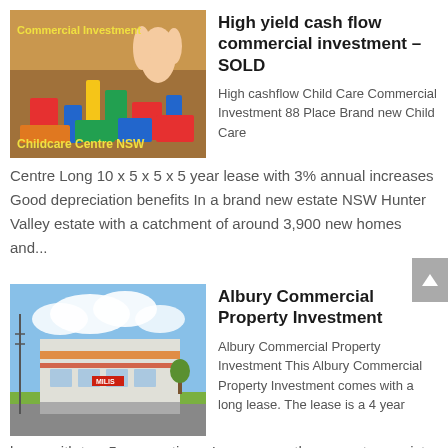[Figure (photo): Photo of colorful children's wooden building blocks on a table, with text overlay 'Commercial Investment' in yellow at top and 'Childcare Centre NSW' in yellow at bottom]
High yield cash flow commercial investment – SOLD
High cashflow Child Care Commercial Investment 88 Place Brand new Child Care Centre Long 10 x 5 x 5 x 5 year lease with 3% annual increases Good depreciation benefits In a brand new estate NSW Hunter Valley estate with a catchment of around 3,900 new homes and...
[Figure (photo): Photo of a commercial building (Albury Commercial Property) with a car park in front, blue sky with clouds]
Albury Commercial Property Investment
Albury Commercial Property Investment This Albury Commercial Property Investment comes with a long lease. The lease is a 4 year lease with two 5-year options. In summary the property consists of...